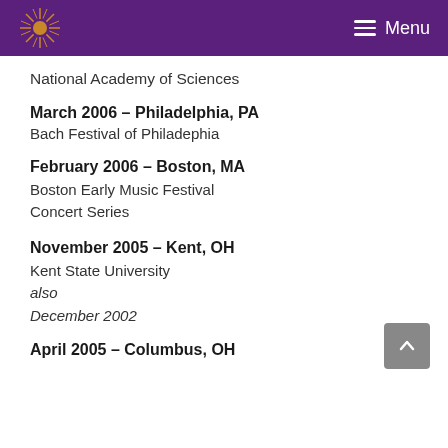Menu
National Academy of Sciences
March 2006 – Philadelphia, PA
Bach Festival of Philadephia
February 2006 – Boston, MA
Boston Early Music Festival Concert Series
November 2005 – Kent, OH
Kent State University
also
December 2002
April 2005 – Columbus, OH